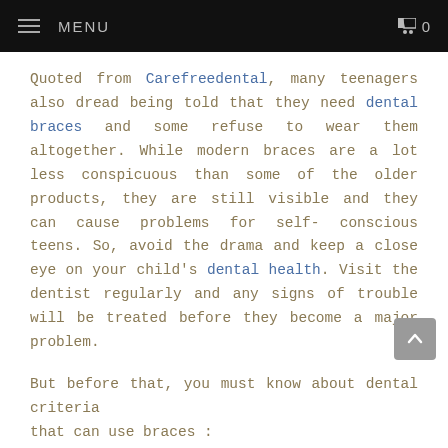MENU  0
Quoted from Carefreedental, many teenagers also dread being told that they need dental braces and some refuse to wear them altogether. While modern braces are a lot less conspicuous than some of the older products, they are still visible and they can cause problems for self-conscious teens. So, avoid the drama and keep a close eye on your child’s dental health. Visit the dentist regularly and any signs of trouble will be treated before they become a major problem.
But before that, you must know about dental criteria that can use braces :
1. Crooked teeth
Crooked teeth that make the mouth difficult to squeeze